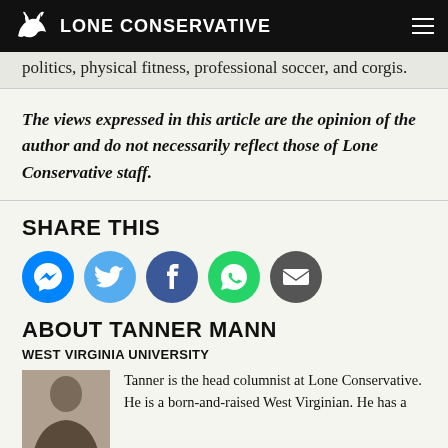LONE CONSERVATIVE
politics, physical fitness, professional soccer, and corgis.
The views expressed in this article are the opinion of the author and do not necessarily reflect those of Lone Conservative staff.
SHARE THIS
[Figure (infographic): Social share icons: Messenger (blue), Twitter (light blue), Facebook (dark blue), WhatsApp (green), Email (dark grey)]
ABOUT TANNER MANN
WEST VIRGINIA UNIVERSITY
Tanner is the head columnist at Lone Conservative. He is a born-and-raised West Virginian. He has a